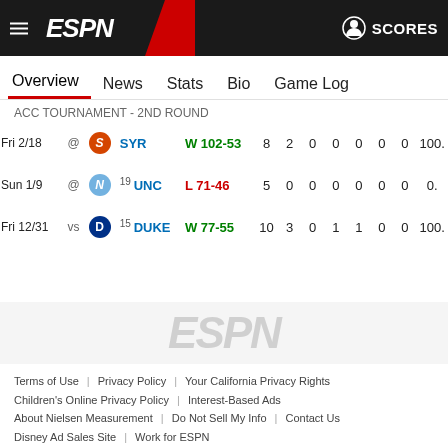ESPN - SCORES
Overview | News | Stats | Bio | Game Log
ACC TOURNAMENT - 2ND ROUND
| Date | Location | Team | Result | Col1 | Col2 | Col3 | Col4 | Col5 | Col6 | Col7 | Col8 |
| --- | --- | --- | --- | --- | --- | --- | --- | --- | --- | --- | --- |
| Fri 2/18 | @ | SYR | W 102-53 | 8 | 2 | 0 | 0 | 0 | 0 | 0 | 100. |
| Sun 1/9 | @ | 19 UNC | L 71-46 | 5 | 0 | 0 | 0 | 0 | 0 | 0 | 0. |
| Fri 12/31 | vs | 15 DUKE | W 77-55 | 10 | 3 | 0 | 1 | 1 | 0 | 0 | 100. |
Terms of Use | Privacy Policy | Your California Privacy Rights | Children's Online Privacy Policy | Interest-Based Ads | About Nielsen Measurement | Do Not Sell My Info | Contact Us | Disney Ad Sales Site | Work for ESPN | Copyright: © ESPN Enterprises, Inc. All rights reserved.